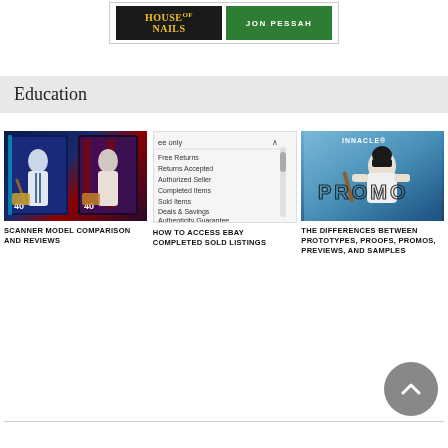[Figure (illustration): Two book/product banners: 'House of Nails' on dark background and 'Jon Pessah' on green background]
Education
[Figure (photo): Baseball card scanner comparison image showing two baseball cards side by side]
SCANNER MODEL COMPARISON AND REVIEWS
[Figure (screenshot): eBay filter options screenshot showing Free Returns, Returns Accepted, Authorized Seller, Completed Items, Sold Items, Deals & Savings, Authenticity Guarantee]
HOW TO ACCESS EBAY COMPLETED SOLD LISTINGS
[Figure (photo): Baseball player in white uniform with PROMO watermark overlaid, Pinnacle brand visible]
THE DIFFERENCES BETWEEN PROTOTYPES, PROOFS, PROMOS, PREVIEWS, AND SAMPLES